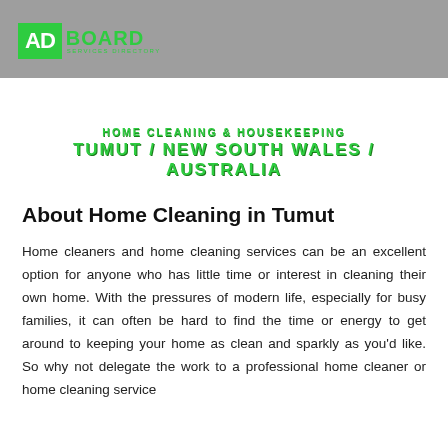ADBOARD SERVICES DIRECTORY
HOME CLEANING & HOUSEKEEPING
TUMUT / NEW SOUTH WALES / AUSTRALIA
About Home Cleaning in Tumut
Home cleaners and home cleaning services can be an excellent option for anyone who has little time or interest in cleaning their own home. With the pressures of modern life, especially for busy families, it can often be hard to find the time or energy to get around to keeping your home as clean and sparkly as you'd like. So why not delegate the work to a professional home cleaner or home cleaning service